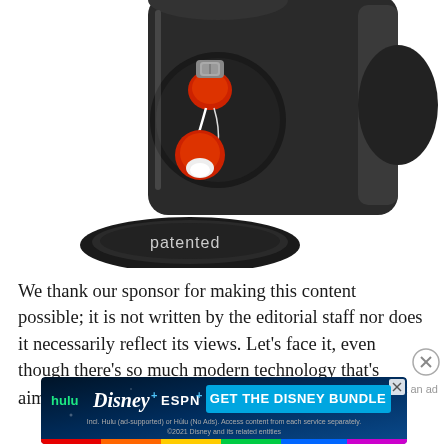[Figure (photo): A black cylindrical earphone case/canister with its lid open, showing red and silver earbuds/earphones inside. The black lid/base has the word 'patented' printed in white lowercase letters. The case is lying on its side on a white background.]
We thank our sponsor for making this content possible; it is not written by the editorial staff nor does it necessarily reflect its views. Let's face it, even though there's so much modern technology that's aimed at offering a chance to try and get a buzz, it
[Figure (screenshot): Disney Bundle advertisement banner showing Hulu, Disney+, and ESPN+ logos with a blue 'GET THE DISNEY BUNDLE' call-to-action button. Fine print reads: Incl. Hulu (ad-supported) or Hulu (No Ads). Access content from each service separately. ©2021 Disney and its related entities]